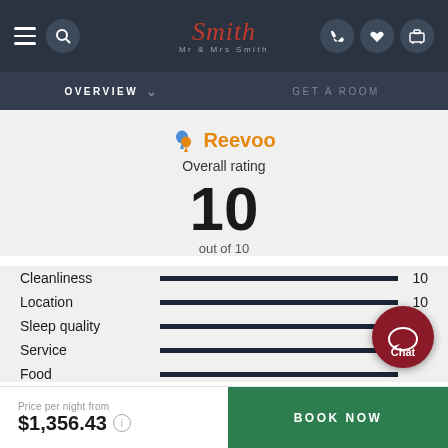Mr & Mrs Smith — navigation bar with hamburger, search, logo, phone, heart, luggage icons
OVERVIEW  ∨   GET A ROOM
[Figure (logo): Reevoo logo with blue and orange map pin icons and orange text 'Reevoo']
Overall rating
10
out of 10
| Category | Score |
| --- | --- |
| Cleanliness | 10 |
| Location | 10 |
| Sleep quality | 10 |
| Service |  |
| Food |  |
Price per night from
$1,356.43
BOOK NOW